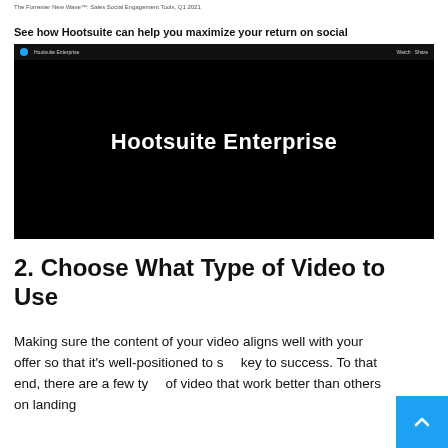The Forrester New Wave™: Sales Social Engagement Tools, Q1 2021
See how Hootsuite can help you maximize your return on social
[Figure (screenshot): A video player with black background showing 'Hootsuite Enterprise' text in white, with a Hootsuite branding bar at the top]
2. Choose What Type of Video to Use
Making sure the content of your video aligns well with your offer so that it's well-positioned to s… key to success. To that end, there are a few ty… of video that work better than others on landing